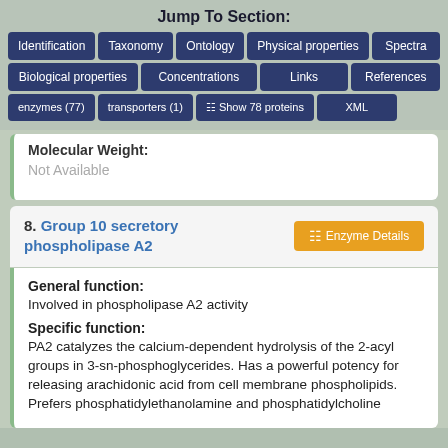Jump To Section:
Identification | Taxonomy | Ontology | Physical properties | Spectra
Biological properties | Concentrations | Links | References
enzymes (77) | transporters (1) | Show 78 proteins | XML
Molecular Weight:
Not Available
8. Group 10 secretory phospholipase A2
General function:
Involved in phospholipase A2 activity
Specific function:
PA2 catalyzes the calcium-dependent hydrolysis of the 2-acyl groups in 3-sn-phosphoglycerides. Has a powerful potency for releasing arachidonic acid from cell membrane phospholipids. Prefers phosphatidylethanolamine and phosphatidylcholine